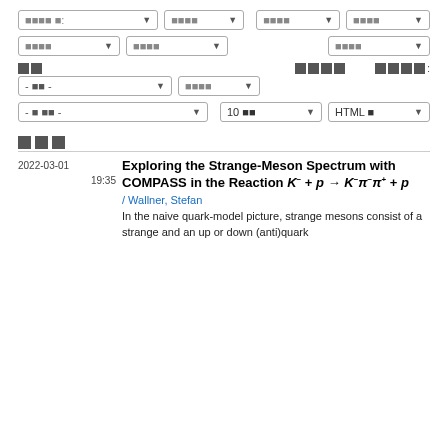[Figure (screenshot): Web UI with multiple dropdown/select form elements for search filtering, with garbled/corrupted text labels shown as black squares]
■■■
Exploring the Strange-Meson Spectrum with COMPASS in the Reaction K⁻ + p → K⁻π⁻π⁺ + p
/ Wallner, Stefan
In the naive quark-model picture, strange mesons consist of a strange and an up or down (anti)quark